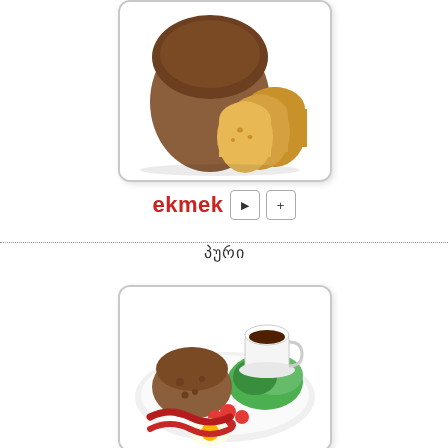[Figure (photo): Sliced brown bread loaf on white background]
ekmek ▶ +
პური
[Figure (photo): Breakfast plate with bread, coffee, vegetables, eggs, and tomatoes]